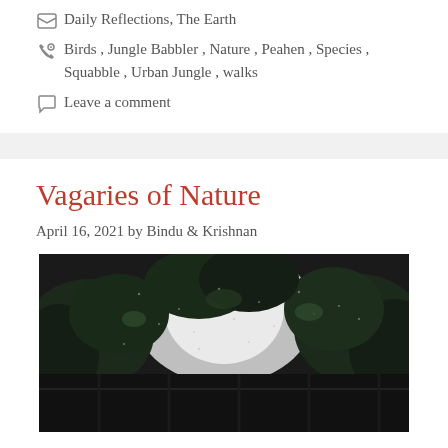Daily Reflections, The Earth
Birds, Jungle Babbler, Nature, Peahen, Species, Squabble, Urban Jungle, walks
Leave a comment
Vagaries of Nature
April 16, 2021 by Bindu & Krishnan
[Figure (photo): Dark outdoor nature photo showing trees with dense foliage against a bright sky, with rain or mist visible]